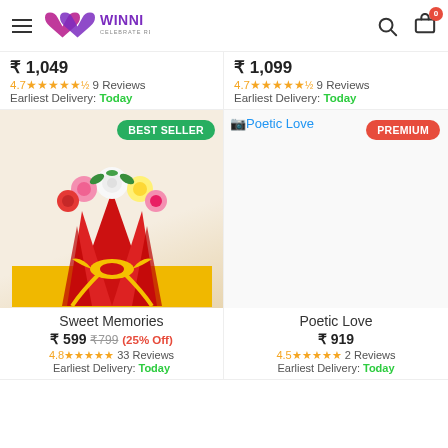WINNI - CELEBRATE RELATIONS
₹1,049 | 4.7★★★★★ 9 Reviews | Earliest Delivery: Today
₹1,099 | 4.7★★★★★ 9 Reviews | Earliest Delivery: Today
[Figure (photo): Flower bouquet with red, yellow, white and pink roses wrapped in red paper with yellow ribbon, labeled BEST SELLER]
[Figure (photo): Poetic Love product image placeholder, labeled PREMIUM]
Sweet Memories
₹ 599 ₹799 (25% Off)
4.8★★★★★ 33 Reviews | Earliest Delivery: Today
Poetic Love
₹ 919
4.5★★★★★ 2 Reviews | Earliest Delivery: Today